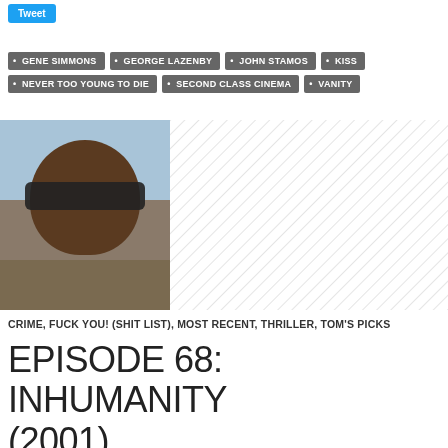[Figure (screenshot): Twitter Tweet button (blue)]
GENE SIMMONS
GEORGE LAZENBY
JOHN STAMOS
KISS
NEVER TOO YOUNG TO DIE
SECOND CLASS CINEMA
VANITY
[Figure (photo): Bald man wearing sunglasses, sky background, next to gray diagonal hatched area]
CRIME, FUCK YOU! (SHIT LIST), MOST RECENT, THRILLER, TOM'S PICKS
EPISODE 68: INHUMANITY (2001)